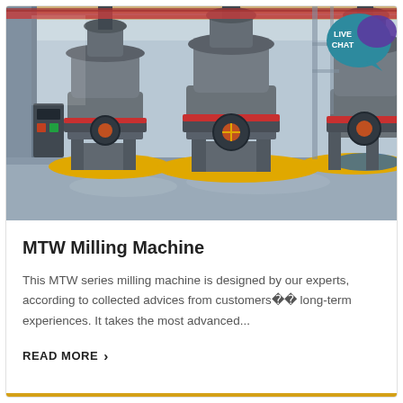[Figure (photo): Industrial milling machines (MTW series) in a large factory/warehouse setting. Three large cylindrical grey milling machines are visible on yellow circular base platforms on a grey polished floor. A red overhead crane beam is visible at the top. A LIVE CHAT badge with speech bubble icon is overlaid in the top-right corner.]
MTW Milling Machine
This MTW series milling machine is designed by our experts, according to collected advices from customers�� long-term experiences. It takes the most advanced...
READ MORE ›